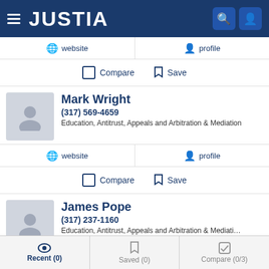JUSTIA
website   profile
Compare   Save
Mark Wright
(317) 569-4659
Education, Antitrust, Appeals and Arbitration & Mediation
website   profile
Compare   Save
James Pope
(317) 237-1160
Education, Antitrust, Appeals and Arbitration & Mediation
Recent (0)   Saved (0)   Compare (0/3)